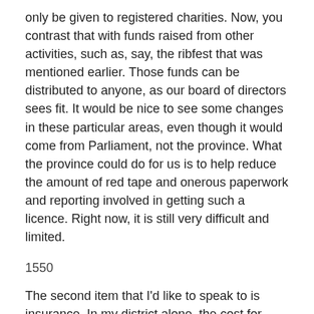only be given to registered charities. Now, you contrast that with funds raised from other activities, such as, say, the ribfest that was mentioned earlier. Those funds can be distributed to anyone, as our board of directors sees fit. It would be nice to see some changes in these particular areas, even though it would come from Parliament, not the province. What the province could do for us is to help reduce the amount of red tape and onerous paperwork and reporting involved in getting such a licence. Right now, it is still very difficult and limited.
1550
The second item that I'd like to speak to is insurance. In my district alone, the cost for insurance during the past five years has ranged from $27,000 to $31,000 per year. In the past five years of my financial statements for my district, we have paid almost $145,000 in premiums in my district alone. Multiply that by all the service organizations in our province that are paying premiums for insurance coverage